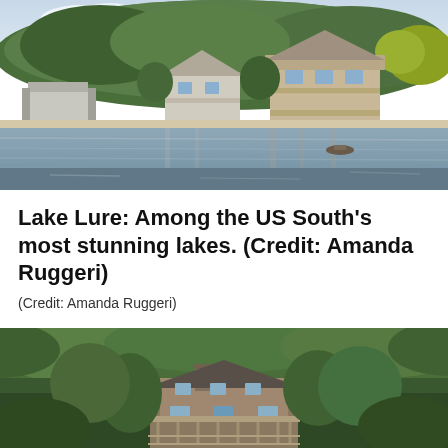[Figure (photo): Lakeside view of Lake Lure showing large houses and a boathouse nestled among dense green trees on a hillside, with calm water in the foreground reflecting the buildings and sky.]
Lake Lure: Among the US South's most stunning lakes. (Credit: Amanda Ruggeri)
(Credit: Amanda Ruggeri)
[Figure (photo): Another lakeside view at Lake Lure showing a large wooden house with balconies surrounded by dense green forest and trees.]